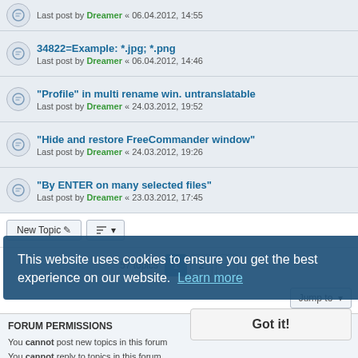Last post by Dreamer « 06.04.2012, 14:55
34822=Example: *.jpg; *.png
Last post by Dreamer « 06.04.2012, 14:46
"Profile" in multi rename win. untranslatable
Last post by Dreamer « 24.03.2012, 19:52
"Hide and restore FreeCommander window"
Last post by Dreamer « 24.03.2012, 19:26
"By ENTER on many selected files"
Last post by Dreamer « 23.03.2012, 17:45
New Topic  |  57 topics  1  2  >
Jump to
FORUM PERMISSIONS
You cannot post new topics in this forum
You cannot reply to topics in this forum
You cannot edit your posts in this forum
You cannot delete your posts in this forum
You cannot post attachments in this forum
This website uses cookies to ensure you get the best experience on our website. Learn more
Got it!
Home • Board index  Contact us  Delete cookies  All times are UTC+02:00
Style developer by "forum tricolor", Powered by phpBB® Forum Software © phpBB Limited